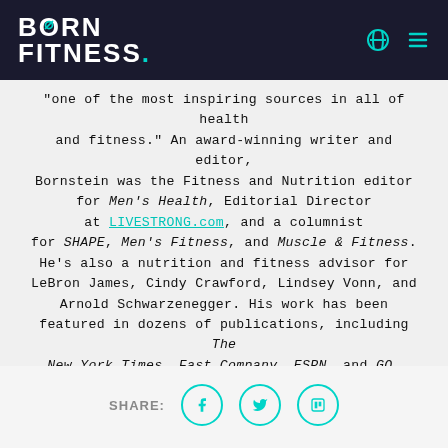BORN FITNESS.
“one of the most inspiring sources in all of health and fitness.” An award-winning writer and editor, Bornstein was the Fitness and Nutrition editor for Men’s Health, Editorial Director at LIVESTRONG.com, and a columnist for SHAPE, Men’s Fitness, and Muscle & Fitness. He’s also a nutrition and fitness advisor for LeBron James, Cindy Crawford, Lindsey Vonn, and Arnold Schwarzenegger. His work has been featured in dozens of publications, including The New York Times, Fast Company, ESPN, and GQ, and he’s appeared on Good Morning America, The Today Show, E! News, and The Cheddar.
SHARE: